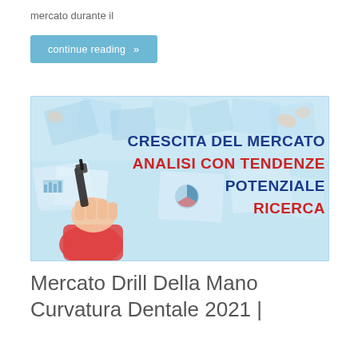mercato durante il
continue reading »
[Figure (illustration): Market analysis promotional banner with light blue background showing hands working on documents on a table. On the right side, large bold text reads: CRESCITA DEL MERCATO (blue), ANALISI CON TENDENZE (red), POTENZIALE (blue), RICERCA (red). Left side shows an illustrated hand holding a drill or marker.]
Mercato Drill Della Mano Curvatura Dentale 2021 |